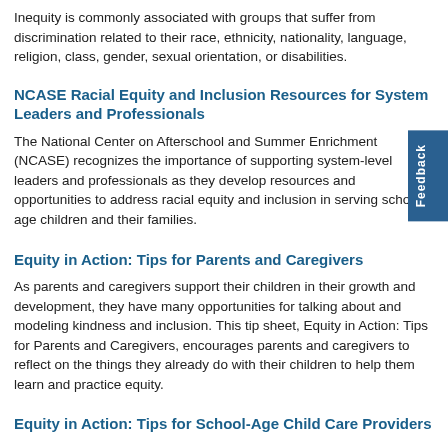Inequity is commonly associated with groups that suffer from discrimination related to their race, ethnicity, nationality, language, religion, class, gender, sexual orientation, or disabilities.
NCASE Racial Equity and Inclusion Resources for System Leaders and Professionals
The National Center on Afterschool and Summer Enrichment (NCASE) recognizes the importance of supporting system-level leaders and professionals as they develop resources and opportunities to address racial equity and inclusion in serving school-age children and their families.
Equity in Action: Tips for Parents and Caregivers
As parents and caregivers support their children in their growth and development, they have many opportunities for talking about and modeling kindness and inclusion. This tip sheet, Equity in Action: Tips for Parents and Caregivers, encourages parents and caregivers to reflect on the things they already do with their children to help them learn and practice equity.
Equity in Action: Tips for School-Age Child Care Providers